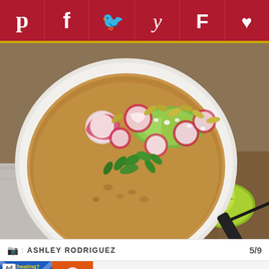[Figure (other): Social media sharing bar with Pinterest, Facebook, Twitter, Yummly, Flipboard, and heart/favorite icons on dark red background]
[Figure (photo): Overhead view of a bowl of soup or stew topped with sliced radishes, avocado chunks, pumpkin seeds, fresh cilantro, and white cheese crumbles. A lime wedge is visible on a wooden surface next to the bowl.]
📷 : ASHLEY RODRIGUEZ   5/9
[Figure (other): Ad banner: BitLife - Life Simulator app advertisement with Install! button]